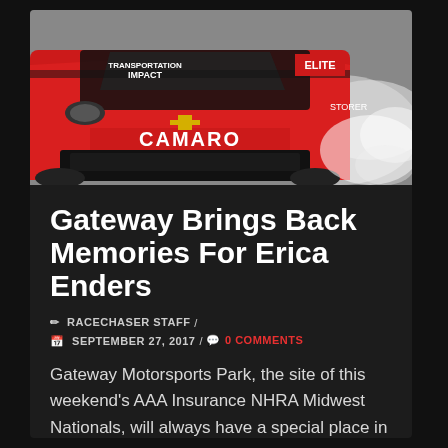[Figure (photo): Red Camaro NHRA drag racing car with Transportation Impact and Elite sponsorship logos, smoke billowing from rear tires]
Gateway Brings Back Memories For Erica Enders
✏ RACECHASER STAFF  /  📅 SEPTEMBER 27, 2017  /  💬 0 COMMENTS
Gateway Motorsports Park, the site of this weekend's AAA Insurance NHRA Midwest Nationals, will always have a special place in the heart of two-time world champion Erica Enders.